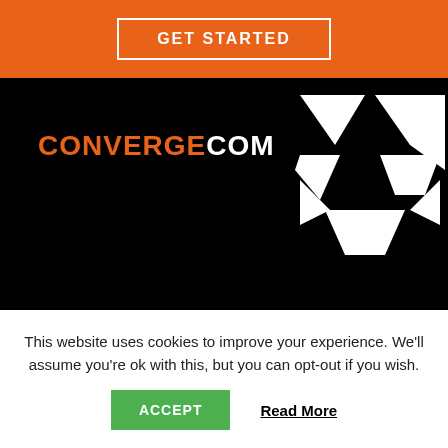[Figure (other): GET STARTED button on orange banner background]
[Figure (logo): CONVERGECOM logo with geometric white icon on black background]
SERVICES
SERVICE
This website uses cookies to improve your experience. We'll assume you're ok with this, but you can opt-out if you wish.
ACCEPT
Read More